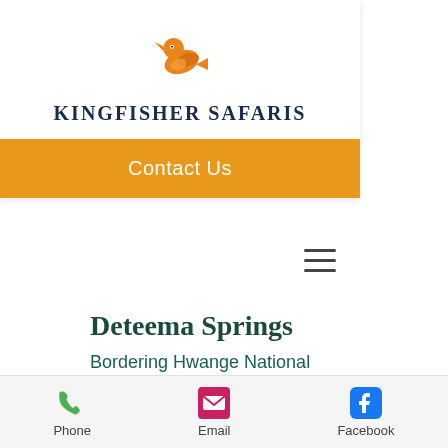[Figure (logo): Kingfisher Safaris orange bird logo with text 'KINGFISHER SAFARIS' below in dark navy serif font]
Contact Us
Deteema Springs
Bordering Hwange National Park, Private Area
Classic
Phone   Email   Facebook